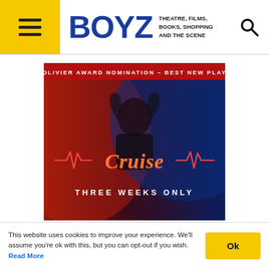BOYZ — THEATRE, FILMS, BOOKS, SHOPPING AND THE SCENE
[Figure (illustration): Promotional advertisement image for the play 'Cruise'. Shows a young man with hands behind his head under dramatic red and blue lighting. Text overlay reads 'OLIVIER AWARD NOMINATION – BEST NEW PLAY' at top, neon-style script 'Cruise' in center with heartbeat line graphics, and 'THREE WEEKS ONLY' at bottom.]
This website uses cookies to improve your experience. We'll assume you're ok with this, but you can opt-out if you wish. Read More